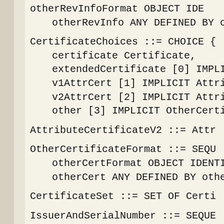otherRevInfoFormat OBJECT IDE
    otherRevInfo ANY DEFINED BY o

CertificateChoices ::= CHOICE {
    certificate Certificate,
    extendedCertificate [0] IMPLI
    v1AttrCert [1] IMPLICIT Attri
    v2AttrCert [2] IMPLICIT Attri
    other [3] IMPLICIT OtherCerti

AttributeCertificateV2 ::= Attr

OtherCertificateFormat ::= SEQU
    otherCertFormat OBJECT IDENTI
    otherCert ANY DEFINED BY othe

CertificateSet ::= SET OF Certi

IssuerAndSerialNumber ::= SEQUE
    issuer Name,
    serialNumber CertificateSeria

CMSVersion ::= INTEGER  { v0(0)

UserKeyingMaterial ::= OCTET ST